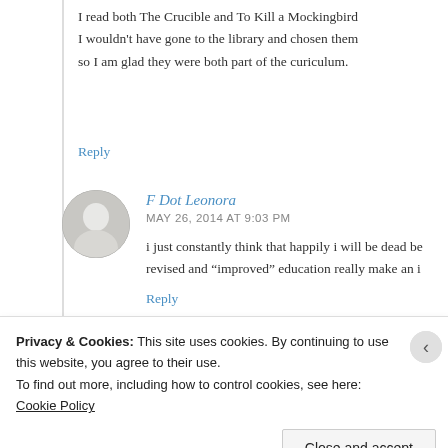I read both The Crucible and To Kill a Mockingbird... I wouldn't have gone to the library and chosen them... so I am glad they were both part of the curiculum.
Reply
[Figure (photo): Circular avatar image of user F Dot Leonora]
F Dot Leonora
MAY 26, 2014 AT 9:03 PM
i just constantly think that happily i will be dead be... revised and “improved” education really make an i...
Reply
Privacy & Cookies: This site uses cookies. By continuing to use this website, you agree to their use.
To find out more, including how to control cookies, see here: Cookie Policy
Close and accept